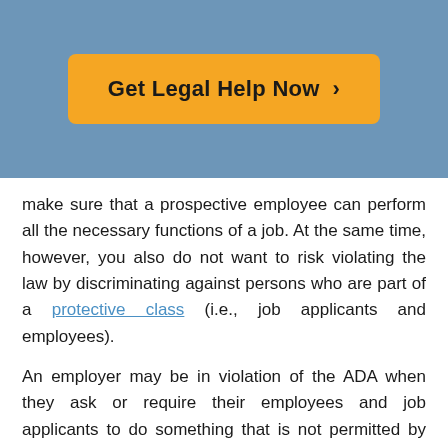[Figure (other): Blue banner with orange 'Get Legal Help Now >' call-to-action button]
make sure that a prospective employee can perform all the necessary functions of a job. At the same time, however, you also do not want to risk violating the law by discriminating against persons who are part of a protective class (i.e., job applicants and employees).
An employer may be in violation of the ADA when they ask or require their employees and job applicants to do something that is not permitted by the law.
Contents
What Does the ADA Say about Medical Exams?